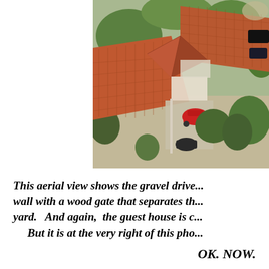[Figure (photo): Aerial view of a property showing terracotta tiled rooftops, trees, a gravel driveway, a red car parked, and surrounding greenery]
This aerial view shows the gravel drive... wall with a wood gate that separates th... yard.   And again,  the guest house is c...     But it is at the very right of this pho...
OK. NOW.